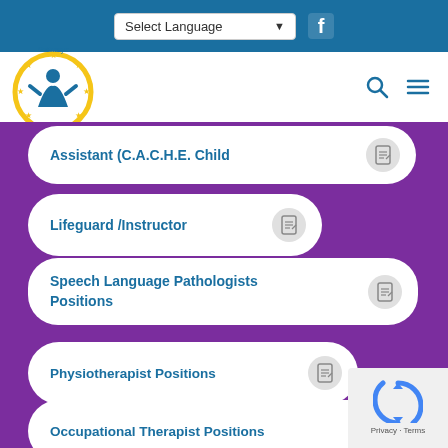Select Language (dropdown) | Facebook icon
[Figure (logo): Pathways Health Centre for Children logo — circular logo with yellow circle, blue figure of a person, and stars around the edge]
Assistant (C.A.C.H.E. Child
Lifeguard /Instructor
Speech Language Pathologists Positions
Physiotherapist Positions
Occupational Therapist Positions